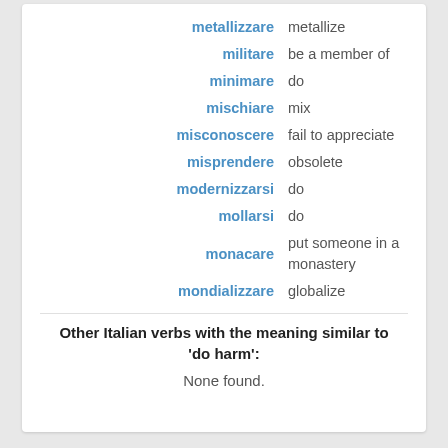| Italian | English |
| --- | --- |
| metallizzare | metallize |
| militare | be a member of |
| minimare | do |
| mischiare | mix |
| misconoscere | fail to appreciate |
| misprendere | obsolete |
| modernizzarsi | do |
| mollarsi | do |
| monacare | put someone in a monastery |
| mondializzare | globalize |
Other Italian verbs with the meaning similar to 'do harm':
None found.